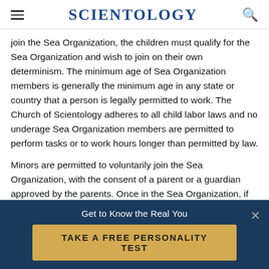SCIENTOLOGY
join the Sea Organization, the children must qualify for the Sea Organization and wish to join on their own determinism. The minimum age of Sea Organization members is generally the minimum age in any state or country that a person is legally permitted to work. The Church of Scientology adheres to all child labor laws and no underage Sea Organization members are permitted to perform tasks or to work hours longer than permitted by law.
Minors are permitted to voluntarily join the Sea Organization, with the consent of a parent or a guardian approved by the parents. Once in the Sea Organization, if the minor's parents are not also members of the Sea
Get to Know the Real You
TAKE A FREE PERSONALITY TEST